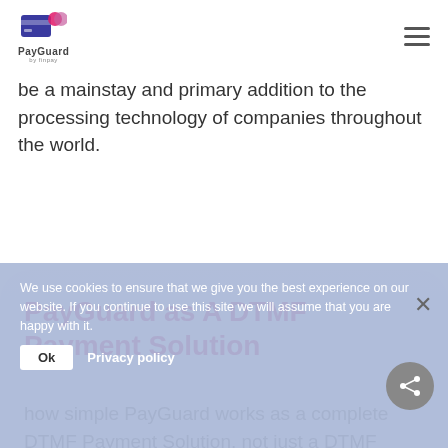PayGuard
be a mainstay and primary addition to the processing technology of companies throughout the world.
PayGuard as A DTMF Payment Solution
how simple PayGuard works as a complete DTMF Payment Solution, not just a DTMF masking solution.
We use cookies to ensure that we give you the best experience on our website. If you continue to use this site we will assume that you are happy with it.